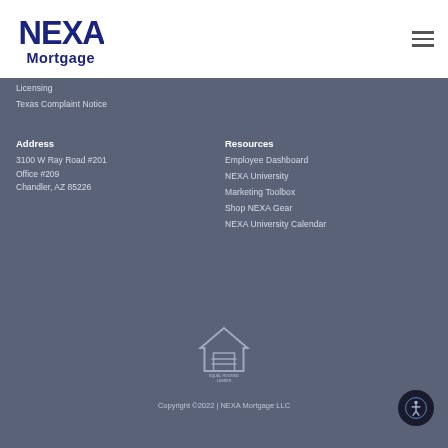NEXA Mortgage
Licensing
Texas Complaint Notice
Address
3100 W Ray Road #201
Office #209
Chandler, AZ 85226
Resources
Employee Dashboard
NEXA University
Marketing Toolbox
Shop NEXA Gear
NEXA University Calendar
[Figure (logo): Equal Housing Lender logo]
Copyright ©2022 | NEXA Mortgage LLC